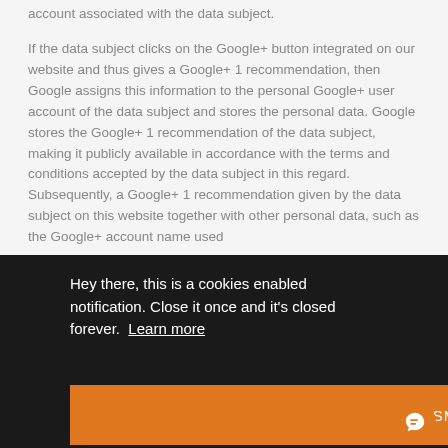account associated with the data subject. If the data subject clicks on the Google+ button integrated on our website and thus gives a Google+ 1 recommendation, then Google assigns this information to the personal Google+ user account of the data subject and stores the personal data. Google stores the Google+ 1 recommendation of the data subject, making it publicly available in accordance with the terms and conditions accepted by the data subject in this regard. Subsequently, a Google+ 1 recommendation given by the data subject on this website together with other personal data, such as the Google+ account name used … essed the … ect or in … website … records
[Figure (screenshot): Cookie consent notification overlay with dark background. Text reads: 'Hey there, this is a cookies enabled notification. Close it once and it's closed forever. Learn more' with an orange DISMISS button at the bottom.]
Chat button icon (orange circle) in bottom right corner.